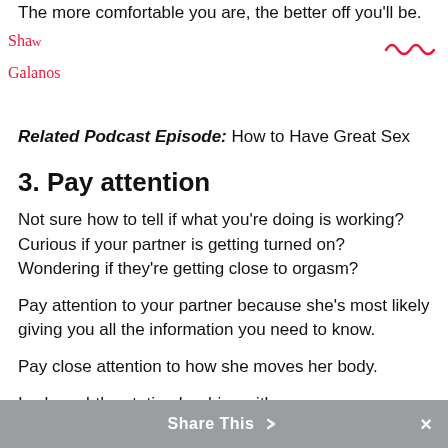The more comfortable you are, the better off you'll be.
Related Podcast Episode: How to Have Great Sex
3. Pay attention
Not sure how to tell if what you're doing is working? Curious if your partner is getting turned on? Wondering if they're getting close to orgasm?
Pay attention to your partner because she's most likely giving you all the information you need to know.
Pay close attention to how she moves her body.
Is she subtly rotating her hips with your
Share This ×